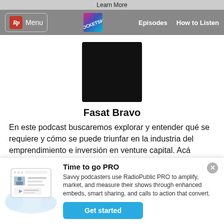Learn More
Rp Menu | Episodes | How to Listen
[Figure (screenshot): Black square podcast cover art placeholder for Fasat Bravo podcast]
Fasat Bravo
En este podcast buscaremos explorar y entender qué se requiere y cómo se puede triunfar en la industria del emprendimiento e inversión en venture capital. Acá aprenderemos de la
Time to go PRO
Savvy podcasters use RadioPublic PRO to amplify, market, and measure their shows through enhanced embeds, smart sharing, and calls to action that convert.
Get started